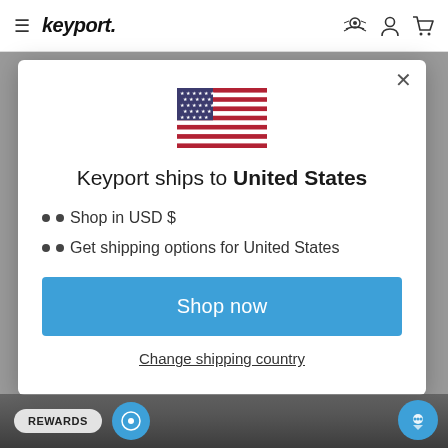keyport
[Figure (screenshot): Modal dialog on Keyport e-commerce website showing US flag, shipping country selector with 'Shop now' button]
Keyport ships to United States
Shop in USD $
Get shipping options for United States
Shop now
Change shipping country